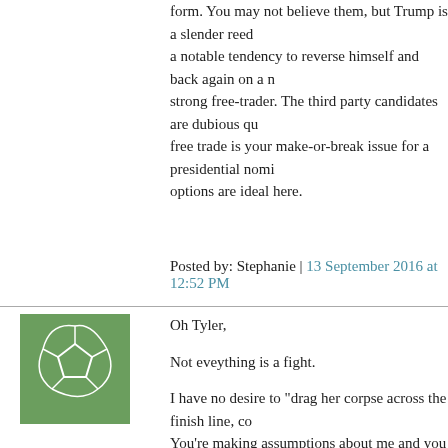form. You may not believe them, but Trump is a slender reed, a notable tendency to reverse himself and back again on a number of issues, and is not a strong free-trader. The third party candidates are dubious qualifications. If free trade is your make-or-break issue for a presidential nominee, no options are ideal here.
Posted by: Stephanie | 13 September 2016 at 12:52 PM
[Figure (illustration): Green avatar icon with a soccer ball pattern]
Oh Tyler,
Not eveything is a fight.
I have no desire to "drag her corpse across the finish line, co... You're making assumptions about me and you couldn't be m...
Second assumption,
"being 'overheated' does not cause a person to go limp ...unl... stages of heat stroke".
That is absolutely bogus and i am insulted that you think any...
I personally have witnessed two people fall over, pass out, fro... They had some water, moved slowly, and within an hour they...
Is that what happed with Clinton?